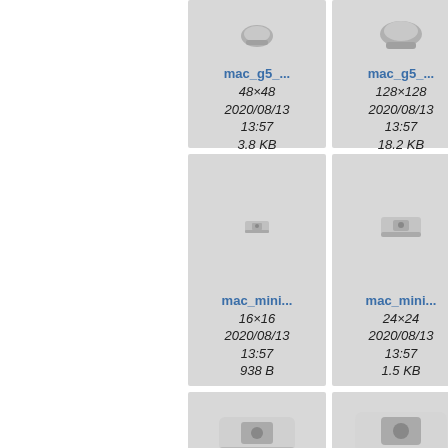[Figure (screenshot): File browser grid view showing Mac computer icons: mac_g5 48x48 (3.8 KB, 2020/08/13 13:57), mac_g5 128x128 (18.2 KB, 2020/08/13 13:57), mac_mini 16x16 (938 B, 2020/08/13 13:57), mac_mini 24x24 (1.5 KB, 2020/08/13 13:57), and two larger mac_mini icon previews at the bottom.]